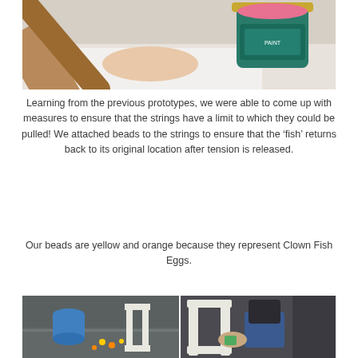[Figure (photo): Photo of hands using a rolling pin or wooden dowel near a paint can with pink paint, white paper or canvas visible below.]
Learning from the previous prototypes, we were able to come up with measures to ensure that the strings have a limit to which they could be pulled! We attached beads to the strings to ensure that the 'fish' returns back to its original location after tension is released.
Our beads are yellow and orange because they represent Clown Fish Eggs.
[Figure (photo): Two side-by-side photos: left shows a blue cylindrical object on a reflective floor with colorful beads nearby and a white frame structure; right shows a person working with a white rectangular wooden frame structure.]